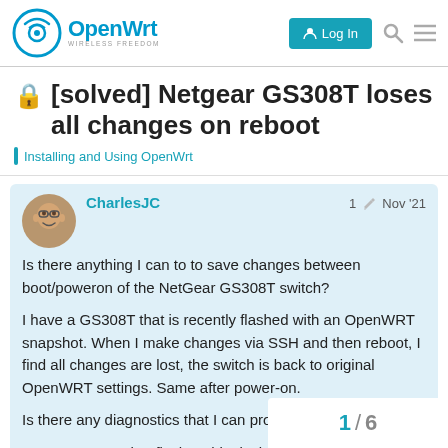OpenWrt WIRELESS FREEDOM | Log In
[solved] Netgear GS308T loses all changes on reboot
Installing and Using OpenWrt
CharlesJC  1  Nov '21
Is there anything I can to to save changes between boot/poweron of the NetGear GS308T switch?
I have a GS308T that is recently flashed with an OpenWRT snapshot. When I make changes via SSH and then reboot, I find all changes are lost, the switch is back to original OpenWRT settings. Same after power-on.
Is there any diagnostics that I can provide to help debug?
PS For anyone that flashes this device and
1 / 6